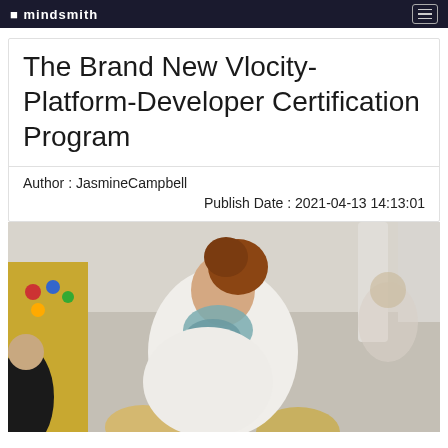mindsmith
The Brand New Vlocity-Platform-Developer Certification Program
Author : JasmineCampbell
Publish Date : 2021-04-13 14:13:01
[Figure (photo): A female teacher with auburn hair in a ponytail, wearing a white long-sleeve top and a blue-grey scarf, leaning over to assist young children in a classroom setting. Other children visible in foreground and background. Classroom environment with colorful wall decorations.]